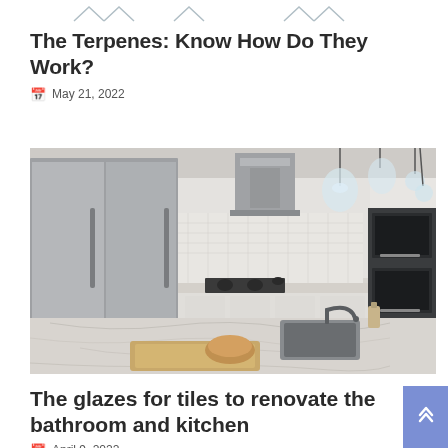[Figure (other): Decorative chevron/zigzag pattern at the top of the page, light gray color]
The Terpenes: Know How Do They Work?
May 21, 2022
[Figure (photo): Modern luxury kitchen with stainless steel refrigerator, range hood, double wall ovens, white shaker cabinets, marble/granite island countertop with undermount sink, pendant globe lights, and wooden cutting board]
The glazes for tiles to renovate the bathroom and kitchen
April 9, 2022